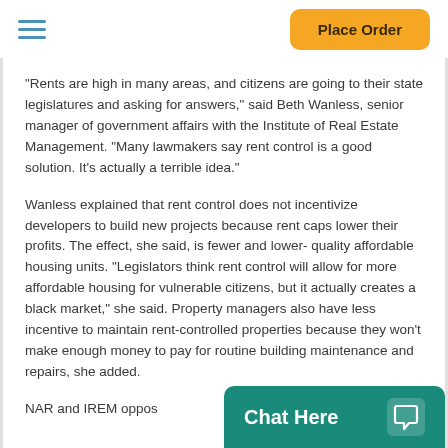Place Order
“Rents are high in many areas, and citizens are going to their state legislatures and asking for answers,” said Beth Wanless, senior manager of government affairs with the Institute of Real Estate Management. “Many lawmakers say rent control is a good solution. It’s actually a terrible idea.”
Wanless explained that rent control does not incentivize developers to build new projects because rent caps lower their profits. The effect, she said, is fewer and lower- quality affordable housing units. “Legislators think rent control will allow for more affordable housing for vulnerable citizens, but it actually creates a black market,” she said. Property managers also have less incentive to maintain rent-controlled properties because they won’t make enough money to pay for routine building maintenance and repairs, she added.
NAR and IREM oppos